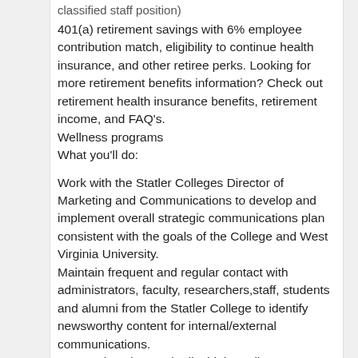classified staff position)
401(a) retirement savings with 6% employee contribution match, eligibility to continue health insurance, and other retiree perks. Looking for more retirement benefits information? Check out retirement health insurance benefits, retirement income, and FAQ's.
Wellness programs
What you'll do:
Work with the Statler Colleges Director of Marketing and Communications to develop and implement overall strategic communications plan consistent with the goals of the College and West Virginia University.
Maintain frequent and regular contact with administrators, faculty, researchers,staff, students and alumni from the Statler College to identify newsworthy content for internal/external communications.
Research, writes and edits high quality content that promotes and illustrates the achievements of